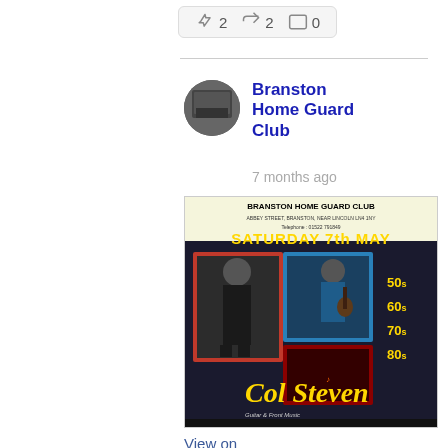[Figure (other): Social media reaction bar showing thumbs up 2, share 2, comment 0]
[Figure (other): Avatar photo of Branston Home Guard Club - a building exterior]
Branston Home Guard Club
7 months ago
[Figure (photo): Event poster for Branston Home Guard Club, Saturday 7th May, featuring Col Steven performing 50s 60s 70s 80s music]
View on
Facebook · Share
[Figure (other): Social media reaction bar showing thumbs up 0, share 1, comment 0]